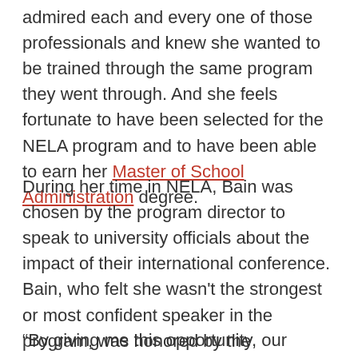admired each and every one of those professionals and knew she wanted to be trained through the same program they went through. And she feels fortunate to have been selected for the NELA program and to have been able to earn her Master of School Administration degree.
During her time in NELA, Bain was chosen by the program director to speak to university officials about the impact of their international conference. Bain, who felt she wasn't the strongest or most confident speaker in the program, was honored by the opportunity. And that experience had a major impact on her as a person as well as on her career.
“By giving me this opportunity, our program director